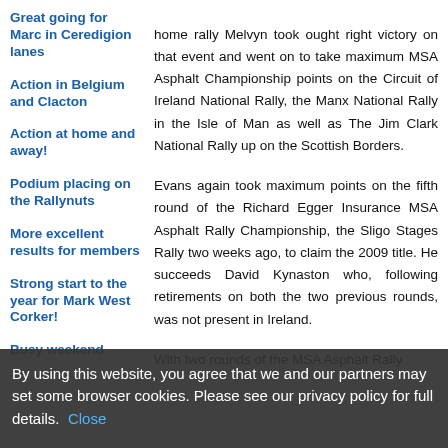Great going for Marc in Ceredigion lanes
Action in Belgium and Clacton
Action at home and away!
Podium placing on the Rallynuts
More excellent results for members
Strong start to the year for Mark West Corker!
Busy weekend
home rally Melvyn took ought right victory on that event and went on to take maximum MSA Asphalt Championship points on the Circuit of Ireland National Rally, the Manx National Rally in the Isle of Man as well as The Jim Clark National Rally up on the Scottish Borders.
Evans again took maximum points on the fifth round of the Richard Egger Insurance MSA Asphalt Rally Championship, the Sligo Stages Rally two weeks ago, to claim the 2009 title. He succeeds David Kynaston who, following retirements on both the two previous rounds, was not present in Ireland.
With two rounds of the MSA Asphalt Rally
By using this website, you agree that we and our partners may set some browser cookies. Please see our privacy policy for full details. Close